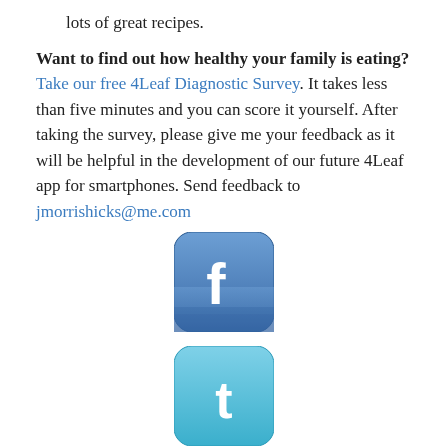lots of great recipes.
Want to find out how healthy your family is eating? Take our free 4Leaf Diagnostic Survey. It takes less than five minutes and you can score it yourself. After taking the survey, please give me your feedback as it will be helpful in the development of our future 4Leaf app for smartphones. Send feedback to jmorrishicks@me.com
[Figure (logo): Facebook logo icon - rounded square with blue background and white 'f' letter]
[Figure (logo): Twitter logo icon - rounded square with teal/cyan background and white bird letter 't']
International. We're now reaching people in over 100 countries. Follow us on Facebook and Twitter or get daily